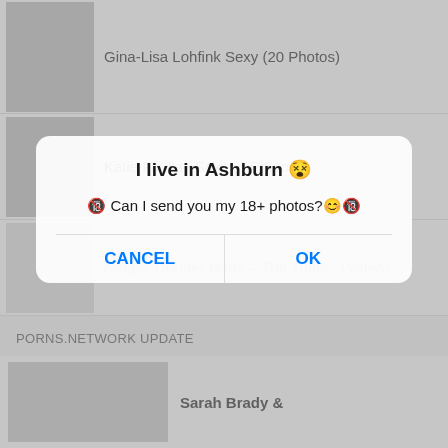Gina-Lisa Lohfink Sexy (20 Photos)
Katie Findlay Sexy (6 Photos)
I live in Ashburn 😵
🔞 Can I send you my 18+ photos?😊🔞
Natalie Dormer Nude – The Tudors (Video)
CANCEL
OK
PORNS.NETWORK UPDATE
Sarah Brady &